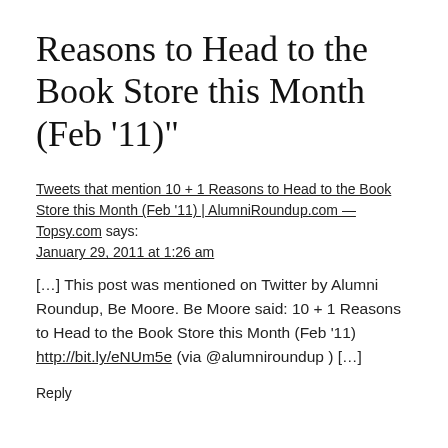Reasons to Head to the Book Store this Month (Feb ’11)”
Tweets that mention 10 + 1 Reasons to Head to the Book Store this Month (Feb ’11) | AlumniRoundup.com — Topsy.com says:
January 29, 2011 at 1:26 am
[…] This post was mentioned on Twitter by Alumni Roundup, Be Moore. Be Moore said: 10 + 1 Reasons to Head to the Book Store this Month (Feb ’11) http://bit.ly/eNUm5e (via @alumniroundup ) […]
Reply